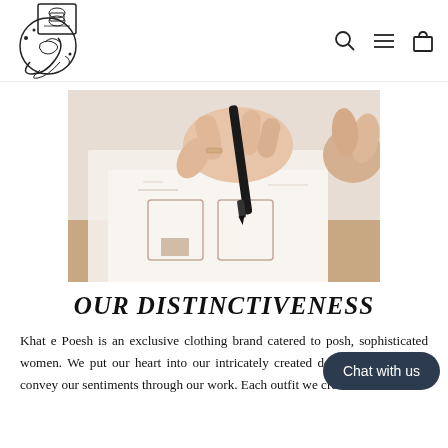[Figure (logo): Khat e Poesh brand logo with Arabic/Persian calligraphy and scroll motif]
[Figure (photo): Close-up photo of hands sketching/drawing fashion design outlines with a black marker on white paper]
OUR DISTINCTIVENESS
Khat e Poesh is an exclusive clothing brand catered to posh, sophisticated women. We put our heart into our intricately created designs and hope to convey our sentiments through our work. Each outfit we create is created...